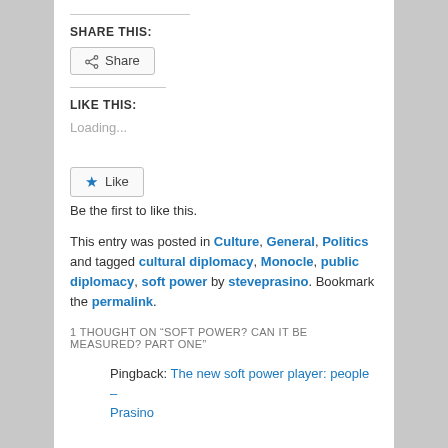SHARE THIS:
[Figure (other): Share button with share icon]
LIKE THIS:
Loading...
[Figure (other): Like button with star icon]
Be the first to like this.
This entry was posted in Culture, General, Politics and tagged cultural diplomacy, Monocle, public diplomacy, soft power by steveprasino. Bookmark the permalink.
1 THOUGHT ON “SOFT POWER? CAN IT BE MEASURED? PART ONE”
Pingback: The new soft power player: people – Prasino